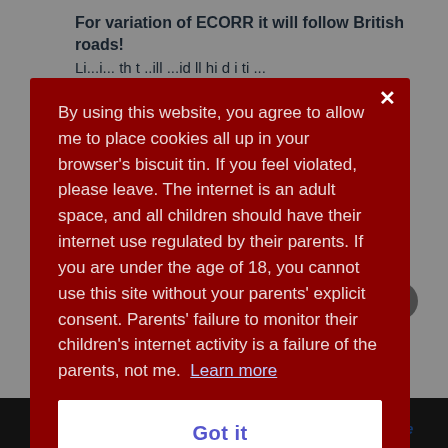For variation of ECORR it will follow British roads!
By using this website, you agree to allow me to place cookies all up in your browser's biscuit tin. If you feel violated, please leave. The internet is an adult space, and all children should have their internet use regulated by their parents. If you are under the age of 18, you cannot use this site without your parents' explicit consent. Parents' failure to monitor their children's internet activity is a failure of the parents, not me.  Learn more
Got it